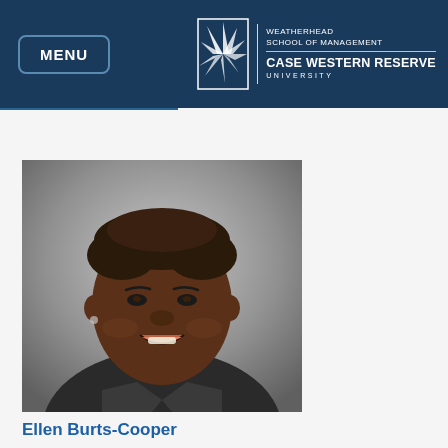MENU | WEATHERHEAD SCHOOL OF MANAGEMENT CASE WESTERN RESERVE UNIVERSITY
[Figure (photo): Professional headshot portrait of Ellen Burts-Cooper, a woman in a dark blazer, smiling, against a grey gradient background.]
Ellen Burts-Cooper